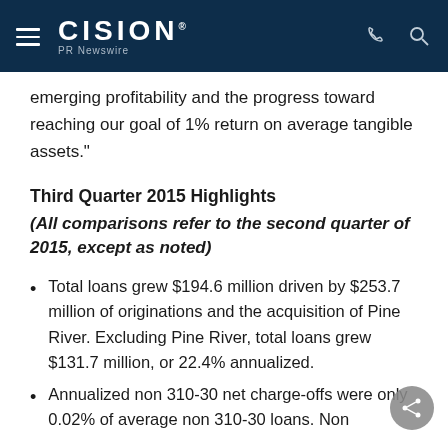CISION PR Newswire
emerging profitability and the progress toward reaching our goal of 1% return on average tangible assets."
Third Quarter 2015 Highlights (All comparisons refer to the second quarter of 2015, except as noted)
Total loans grew $194.6 million driven by $253.7 million of originations and the acquisition of Pine River. Excluding Pine River, total loans grew $131.7 million, or 22.4% annualized.
Annualized non 310-30 net charge-offs were only 0.02% of average non 310-30 loans. Non